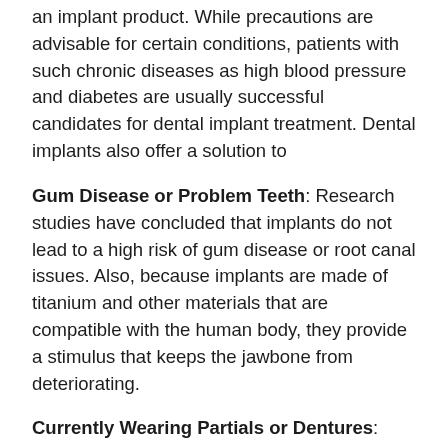an implant product. While precautions are advisable for certain conditions, patients with such chronic diseases as high blood pressure and diabetes are usually successful candidates for dental implant treatment. Dental implants also offer a solution to
Gum Disease or Problem Teeth: Research studies have concluded that implants do not lead to a high risk of gum disease or root canal issues. Also, because implants are made of titanium and other materials that are compatible with the human body, they provide a stimulus that keeps the jawbone from deteriorating.
Currently Wearing Partials or Dentures: Implants can replace removable bridges or dentures, or they can be used to stabilize and secure the denture, making it much more comfortable.